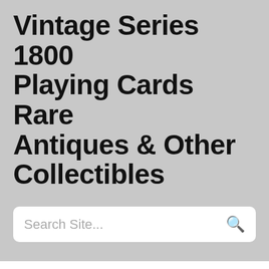Vintage Series 1800 Playing Cards Rare Antiques & Other Collectibles
Search Site...
Vintage